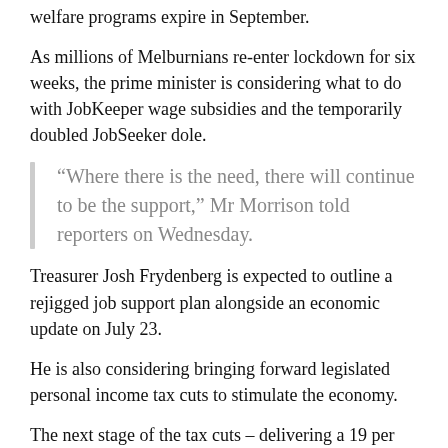welfare programs expire in September.
As millions of Melburnians re-enter lockdown for six weeks, the prime minister is considering what to do with JobKeeper wage subsidies and the temporarily doubled JobSeeker dole.
“Where there is the need, there will continue to be the support,” Mr Morrison told reporters on Wednesday.
Treasurer Josh Frydenberg is expected to outline a rejigged job support plan alongside an economic update on July 23.
He is also considering bringing forward legislated personal income tax cuts to stimulate the economy.
The next stage of the tax cuts – delivering a 19 per cent rate to everyone earning less than